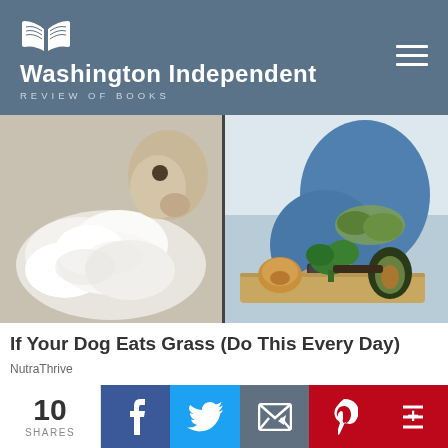Washington Independent Review of Books
[Figure (photo): Two-panel advertisement image: left panel shows a cat with white creamy food/substance on a plate, right panel shows a person chopping vegetables including broccoli, avocado, and onion on a cutting board.]
If Your Dog Eats Grass (Do This Every Day)
NutraThrive
[Figure (photo): A muted blue-gray advertisement image banner.]